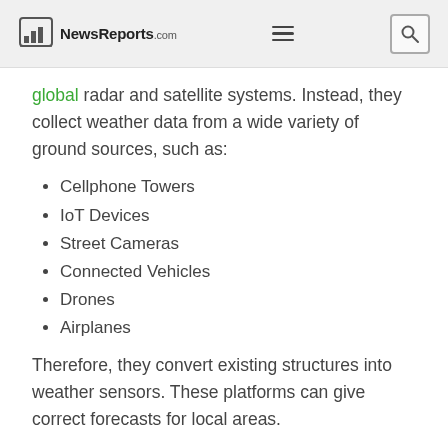NewsReports.com
global radar and satellite systems. Instead, they collect weather data from a wide variety of ground sources, such as:
Cellphone Towers
IoT Devices
Street Cameras
Connected Vehicles
Drones
Airplanes
Therefore, they convert existing structures into weather sensors. These platforms can give correct forecasts for local areas.
For instance, a construction business can